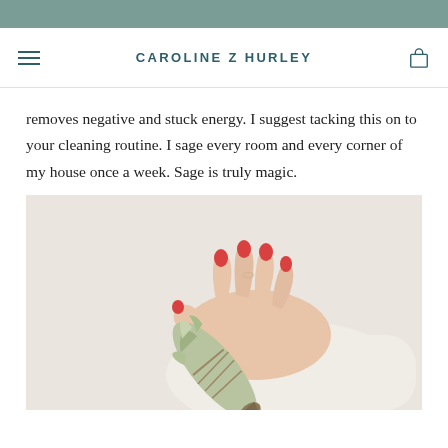CAROLINE Z HURLEY
removes negative and stuck energy. I suggest tacking this on to your cleaning routine. I sage every room and every corner of my house once a week. Sage is truly magic.
[Figure (photo): A hand with red-painted fingernails holding a white sage smudge bundle against a light beige/white background.]